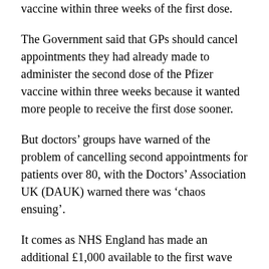vaccine within three weeks of the first dose.
The Government said that GPs should cancel appointments they had already made to administer the second dose of the Pfizer vaccine within three weeks because it wanted more people to receive the first dose sooner.
But doctors' groups have warned of the problem of cancelling second appointments for patients over 80, with the Doctors' Association UK (DAUK) warned there was 'chaos ensuing'.
It comes as NHS England has made an additional £1,000 available to the first wave primary care networks to support with administrative costs in rescheduling appointments.
Pfizer initially stated that its vaccine must be taken in two doses, three weeks apart.